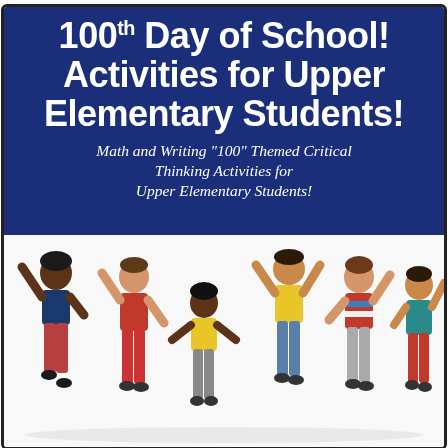100th Day of School! Activities for Upper Elementary Students!
Math and Writing "100" Themed Critical Thinking Activities for Upper Elementary Students!
[Figure (illustration): Five children of diverse ethnicities jumping and celebrating with arms raised, on a white background]